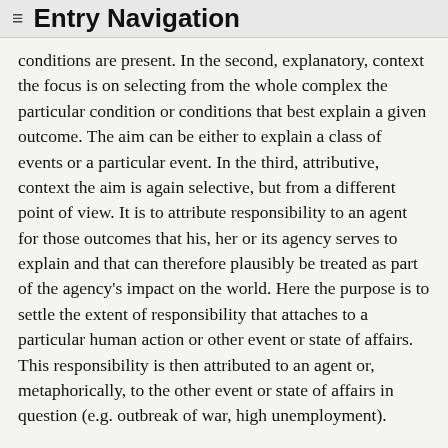≡ Entry Navigation
conditions are present. In the second, explanatory, context the focus is on selecting from the whole complex the particular condition or conditions that best explain a given outcome. The aim can be either to explain a class of events or a particular event. In the third, attributive, context the aim is again selective, but from a different point of view. It is to attribute responsibility to an agent for those outcomes that his, her or its agency serves to explain and that can therefore plausibly be treated as part of the agency's impact on the world. Here the purpose is to settle the extent of responsibility that attaches to a particular human action or other event or state of affairs. This responsibility is then attributed to an agent or, metaphorically, to the other event or state of affairs in question (e.g. outbreak of war, high unemployment).
In law the second and third of these functions of the notion of cause are prominent, often in combination. Many legal inquiries are concerned to explain how some event or state of affairs came about, especially an untoward event such as death or a state of affairs such as